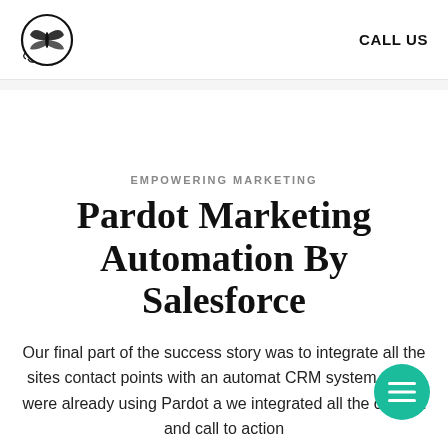CALL US
EMPOWERING MARKETING
Pardot Marketing Automation By Salesforce
Our final part of the success story was to integrate all the sites contact points with an automated CRM system. Style were already using Pardot and we integrated all the contact and call to action